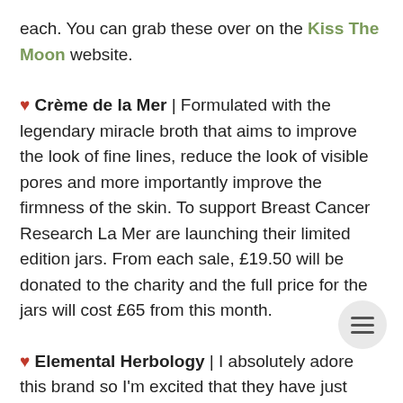each. You can grab these over on the Kiss The Moon website.
♥ Crème de la Mer | Formulated with the legendary miracle broth that aims to improve the look of fine lines, reduce the look of visible pores and more importantly improve the firmness of the skin. To support Breast Cancer Research La Mer are launching their limited edition jars. From each sale, £19.50 will be donated to the charity and the full price for the jars will cost £65 from this month.
♥ Elemental Herbology | I absolutely adore this brand so I'm excited that they have just launched their Muscle M Balm. This joins the Body Essentials collection which was created to soothe tired and achy muscles with a warming balmy feel. The brand advises that you can use this pre and